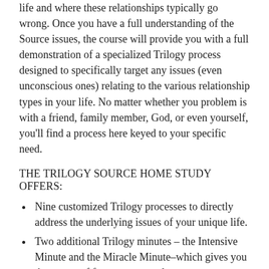life and where these relationships typically go wrong. Once you have a full understanding of the Source issues, the course will provide you with a full demonstration of a specialized Trilogy process designed to specifically target any issues (even unconscious ones) relating to the various relationship types in your life. No matter whether you problem is with a friend, family member, God, or even yourself, you'll find a process here keyed to your specific need.
THE TRILOGY SOURCE HOME STUDY OFFERS:
Nine customized Trilogy processes to directly address the underlying issues of your unique life.
Two additional Trilogy minutes – the Intensive Minute and the Miracle Minute–which gives you the power of four more complex energy therapies: reiki, eye movement, breathing exercises and releasing statements. These can be totally customized to your